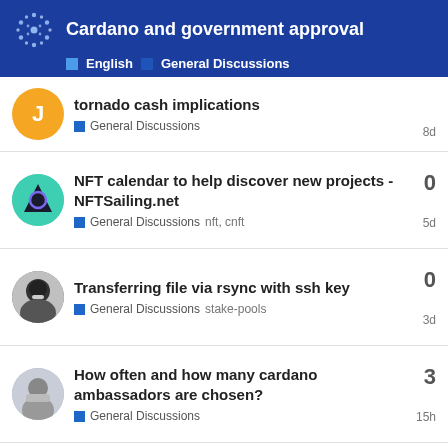Cardano and government approval | English | General Discussions
tornado cash implications
General Discussions
8d
NFT calendar to help discover new projects - NFTSailing.net
General Discussions  nft, cnft
0
5d
Transferring file via rsync with ssh key
General Discussions  stake-pools
0
3d
How often and how many cardano ambassadors are chosen?
General Discussions
3
15h
Want to read more? Browse other topics in General Discussio... or view latest topics.